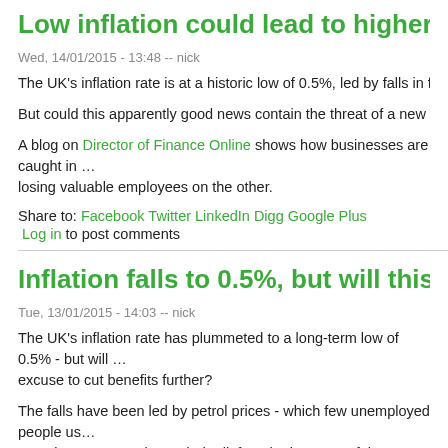Low inflation could lead to higher unemploy…
Wed, 14/01/2015 - 13:48 -- nick
The UK's inflation rate is at a historic low of 0.5%, led by falls in fuel and fo…
But could this apparently good news contain the threat of a new rise in une…
A blog on Director of Finance Online shows how businesses are caught in … losing valuable employees on the other.
Share to: Facebook Twitter LinkedIn Digg Google Plus
Log in to post comments
Inflation falls to 0.5%, but will this trigger m…
Tue, 13/01/2015 - 14:03 -- nick
The UK's inflation rate has plummeted to a long-term low of 0.5% - but will … excuse to cut benefits further?
The falls have been led by petrol prices - which few unemployed people us… meaning some much-needed relief on the incomes of the poorest.